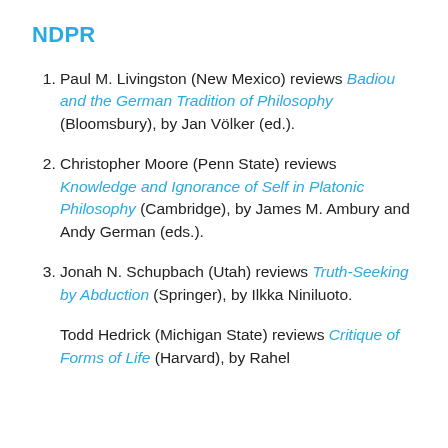NDPR
Paul M. Livingston (New Mexico) reviews Badiou and the German Tradition of Philosophy (Bloomsbury), by Jan Völker (ed.).
Christopher Moore (Penn State) reviews Knowledge and Ignorance of Self in Platonic Philosophy (Cambridge), by James M. Ambury and Andy German (eds.).
Jonah N. Schupbach (Utah) reviews Truth-Seeking by Abduction (Springer), by Ilkka Niniluoto.
Todd Hedrick (Michigan State) reviews Critique of Forms of Life (Harvard), by Rahel